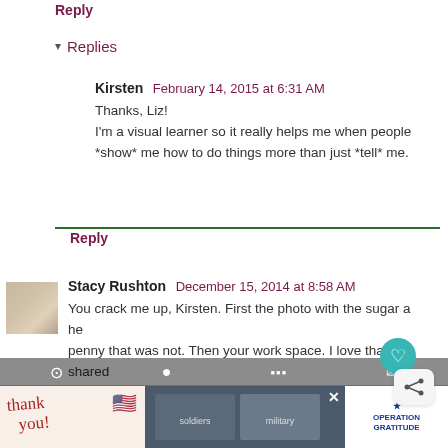Reply
▾ Replies
Kirsten  February 14, 2015 at 6:31 AM
Thanks, Liz!
I'm a visual learner so it really helps me when people *show* me how to do things more than just *tell* me.
Reply
Stacy Rushton  December 15, 2014 at 8:58 AM
You crack me up, Kirsten. First the photo with the sugar a… he penny that was not. Then your work space. I love that you shared both of those things with us. And that beautiful bread! W… o start? The lovely braid, the shiny crust, the tender crumb… ve it all!
[Figure (screenshot): Advertisement banner for Operation Gratitude at the bottom of the page, with 'Thank you' handwritten text on the left, soldiers in the middle, and Operation Gratitude logo on the right. Also visible are bottom navigation icons and social sharing buttons (heart and share).]